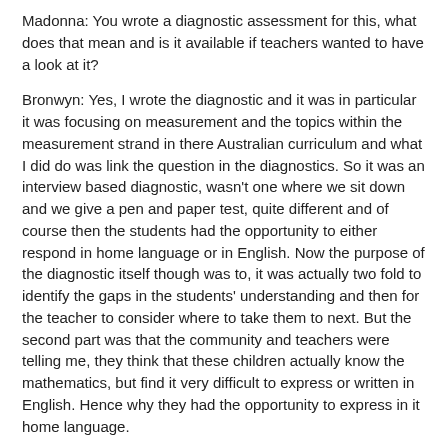Madonna: You wrote a diagnostic assessment for this, what does that mean and is it available if teachers wanted to have a look at it?
Bronwyn: Yes, I wrote the diagnostic and it was in particular it was focusing on measurement and the topics within the measurement strand in there Australian curriculum and what I did do was link the question in the diagnostics. So it was an interview based diagnostic, wasn't one where we sit down and we give a pen and paper test, quite different and of course then the students had the opportunity to either respond in home language or in English. Now the purpose of the diagnostic itself though was to, it was actually two fold to identify the gaps in the students' understanding and then for the teacher to consider where to take them to next. But the second part was that the community and teachers were telling me, they think that these children actually know the mathematics, but find it very difficult to express or written in English. Hence why they had the opportunity to express in it home language.